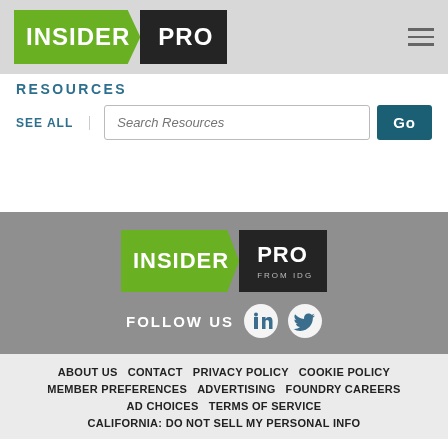[Figure (logo): Insider Pro logo in header - green INSIDER with arrow shape and dark PRO box]
RESOURCES
SEE ALL
Search Resources
Go
[Figure (logo): Insider Pro From IDG footer logo - green INSIDER with arrow shape and dark PRO box, FROM IDG underneath]
FOLLOW US
ABOUT US  CONTACT  PRIVACY POLICY  COOKIE POLICY  MEMBER PREFERENCES  ADVERTISING  FOUNDRY CAREERS  AD CHOICES  TERMS OF SERVICE  CALIFORNIA: DO NOT SELL MY PERSONAL INFO